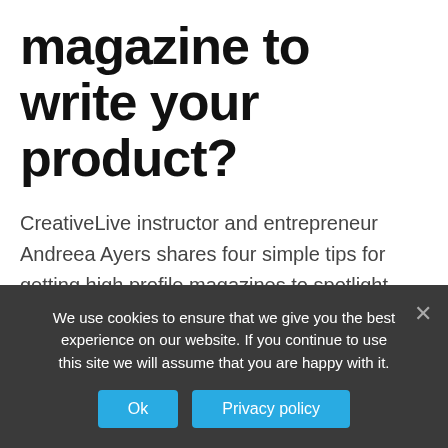magazine to write your product?
CreativeLive instructor and entrepreneur Andreea Ayers shares four simple tips for getting high profile magazines to spotlight your business.Make A List of Dream Magazines. Study Each Magazine. Figure Out Where Your Product Should Be Featured. Figure Out Where Your Product Should Be Featured. Pitch Your Story.
We use cookies to ensure that we give you the best experience on our website. If you continue to use this site we will assume that you are happy with it.